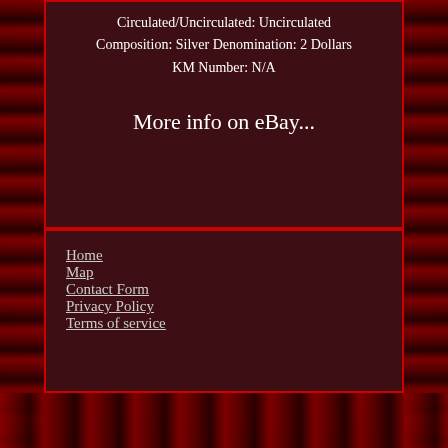Circulated/Uncirculated: Uncirculated Composition: Silver Denomination: 2 Dollars KM Number: N/A
More info on eBay...
Home
Map
Contact Form
Privacy Policy
Terms of service